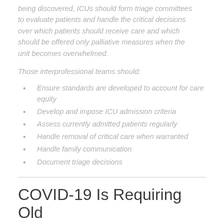being discovered, ICUs should form triage committees to evaluate patients and handle the critical decisions over which patients should receive care and which should be offered only palliative measures when the unit becomes overwhelmed.
Those interprofessional teams should:
Ensure standards are developed to account for care equity
Develop and impose ICU admission criteria
Assess currently admitted patients regularly
Handle removal of critical care when warranted
Handle family communication
Document triage decisions
COVID-19 Is Requiring Old